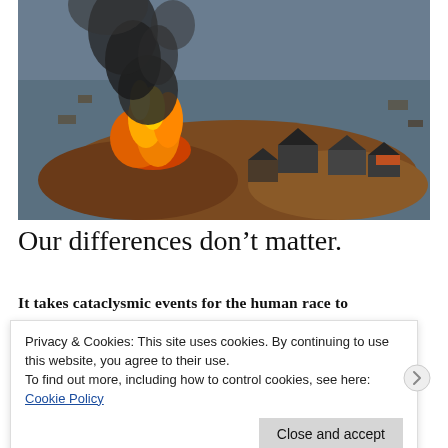[Figure (photo): Aerial photograph of flooded coastal town with houses floating on water amid debris, fire and smoke rising from burning structures on the left, dark floodwaters surrounding the scene.]
Our differences don’t matter.
It takes cataclysmic events for the human race to
Privacy & Cookies: This site uses cookies. By continuing to use this website, you agree to their use.
To find out more, including how to control cookies, see here: Cookie Policy
Close and accept